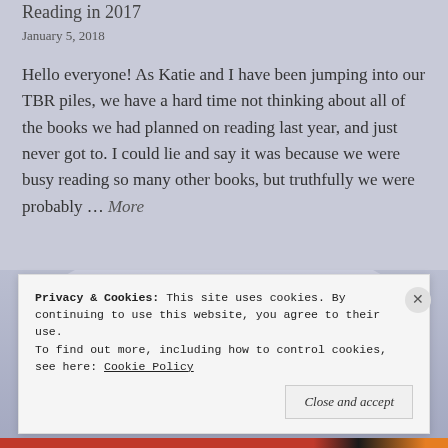Reading in 2017
January 5, 2018
Hello everyone! As Katie and I have been jumping into our TBR piles, we have a hard time not thinking about all of the books we had planned on reading last year, and just never got to. I could lie and say it was because we were busy reading so many other books, but truthfully we were probably … More
[Figure (illustration): Open book background image with icons (comment bubble and share/link icon)]
Privacy & Cookies: This site uses cookies. By continuing to use this website, you agree to their use.
To find out more, including how to control cookies, see here: Cookie Policy
Close and accept